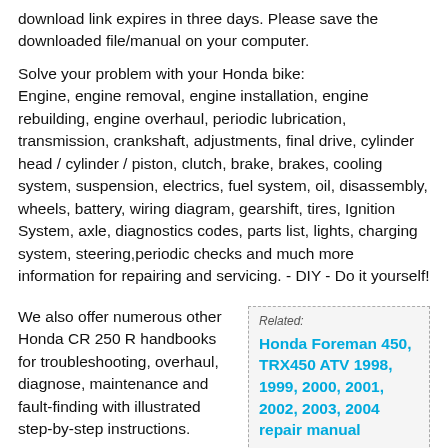download link expires in three days. Please save the downloaded file/manual on your computer.
Solve your problem with your Honda bike: Engine, engine removal, engine installation, engine rebuilding, engine overhaul, periodic lubrication, transmission, crankshaft, adjustments, final drive, cylinder head / cylinder / piston, clutch, brake, brakes, cooling system, suspension, electrics, fuel system, oil, disassembly, wheels, battery, wiring diagram, gearshift, tires, Ignition System, axle, diagnostics codes, parts list, lights, charging system, steering,periodic checks and much more information for repairing and servicing. - DIY - Do it yourself!
We also offer numerous other Honda CR 250 R handbooks for troubleshooting, overhaul, diagnose, maintenance and fault-finding with illustrated step-by-step instructions.
Related: Honda Foreman 450, TRX450 ATV 1998, 1999, 2000, 2001, 2002, 2003, 2004 repair manual
For at the above you can also find CR 250 R and more content...